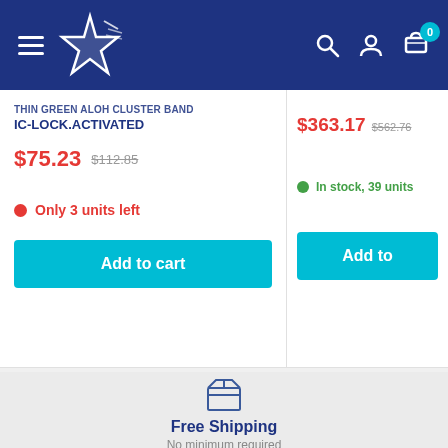[Figure (screenshot): E-commerce website header with dark blue background, hamburger menu, star logo, search, account, and cart icons with badge showing 0]
IC-LOCK.ACTIVATED
$75.23  $112.85
Only 3 units left
Add to cart
$363.17  $562.76
In stock, 39 units
Add to
[Figure (illustration): Box/package icon representing free shipping]
Free Shipping
No minimum required